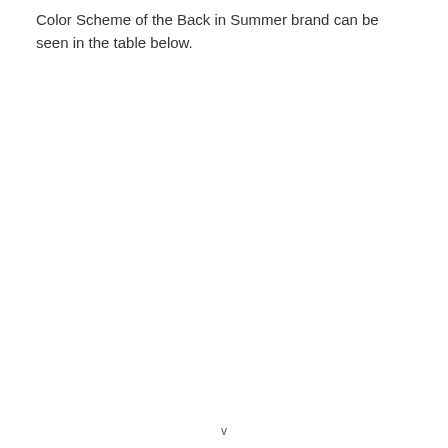Color Scheme of the Back in Summer brand can be seen in the table below.
v